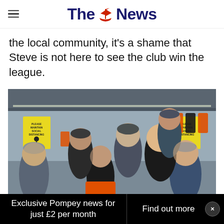The News
the local community, it's a shame that Steve is not here to see the club win the league.
[Figure (photo): Group photo of approximately 11 men standing together indoors at what appears to be a sports club or football ground, with social distancing signs visible in the background and orange jerseys/shirts hanging on the wall. The men are wearing winter clothing including hats and jackets.]
Exclusive Pompey news for just £2 per month
Find out more